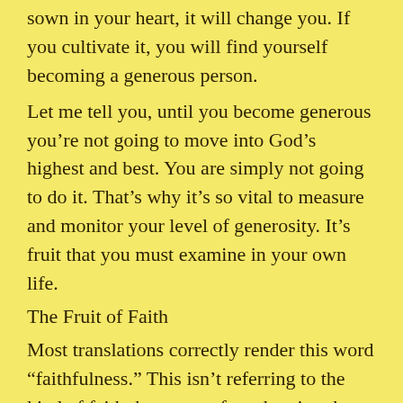sown in your heart, it will change you. If you cultivate it, you will find yourself becoming a generous person.
Let me tell you, until you become generous you’re not going to move into God’s highest and best. You are simply not going to do it. That’s why it’s so vital to measure and monitor your level of generosity. It’s fruit that you must examine in your own life.
The Fruit of Faith
Most translations correctly render this word “faithfulness.” This isn’t referring to the kind of faith that comes from hearing the Word.